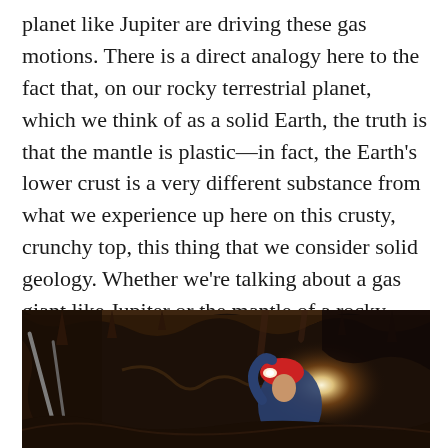planet like Jupiter are driving these gas motions. There is a direct analogy here to the fact that, on our rocky terrestrial planet, which we think of as a solid Earth, the truth is that the mantle is plastic—in fact, the Earth's lower crust is a very different substance from what we experience up here on this crusty, crunchy top, this thing that we consider solid geology. Whether we're talking about a gas giant like Jupiter or the mantle of a rocky planet like Earth, we are really just dealing with different regimes of density—and, here again, it's driven by the physics.
[Figure (photo): A person wearing a red helmet with a headlamp explores a cave, illuminating rocky cave walls and stalactites from below.]